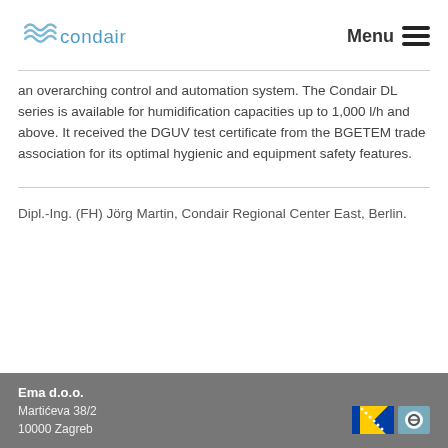condair | Menu
an overarching control and automation system. The Condair DL series is available for humidification capacities up to 1,000 l/h and above. It received the DGUV test certificate from the BGETEM trade association for its optimal hygienic and equipment safety features.
Dipl.-Ing. (FH) Jörg Martin, Condair Regional Center East, Berlin.
Ema d.o.o.
Martićeva 38/2
10000 Zagreb